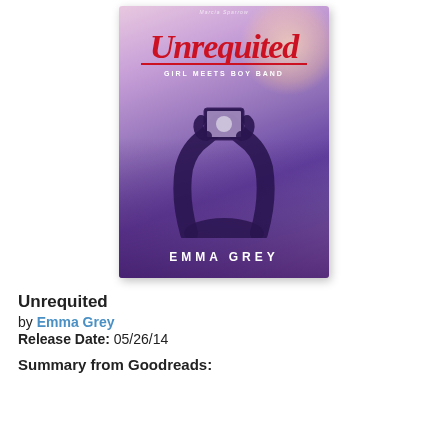[Figure (illustration): Book cover for 'Unrequited: Girl Meets Boy Band' by Emma Grey. Shows a silhouette of hands holding up a smartphone at a concert, with a purple/pink bokeh crowd background and orange glow in upper right. Title 'Unrequited' in large red cursive script with 'GIRL MEETS BOY BAND' beneath, and 'EMMA GREY' in white spaced caps at the bottom.]
Unrequited
by Emma Grey
Release Date: 05/26/14
Summary from Goodreads: